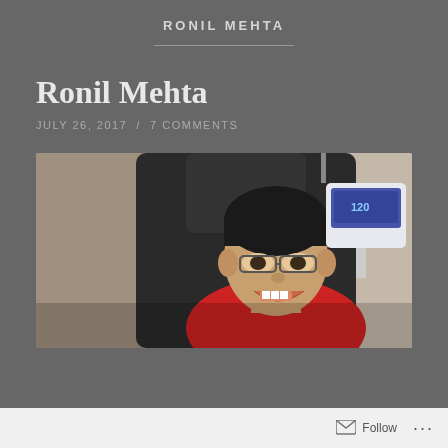RONIL MEHTA
Ronil Mehta
JULY 26, 2017 / 7 COMMENTS
[Figure (photo): A smiling young boy wearing glasses and a red shirt, seated in a reclining chair with medical equipment including a blood pressure monitor visible in the background]
Follow